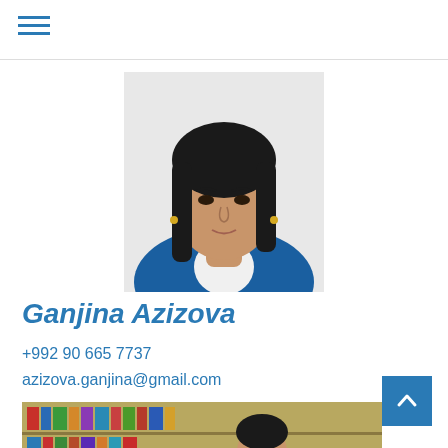[Figure (photo): Portrait photo of Ganjina Azizova, a woman with dark hair wearing a blue jacket and white shirt]
Ganjina Azizova
+992 90 665 7737
azizova.ganjina@gmail.com
[Figure (photo): Photo of a person in a library with bookshelves in the background]